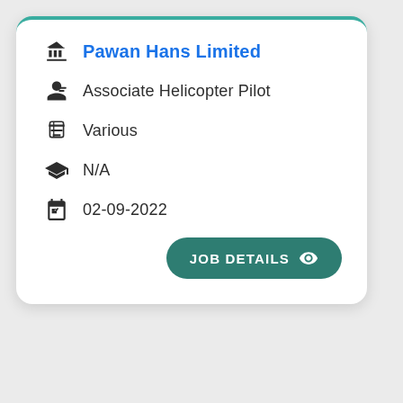Pawan Hans Limited
Associate Helicopter Pilot
Various
N/A
02-09-2022
JOB DETAILS